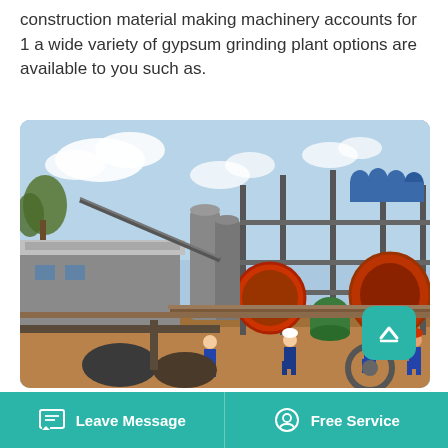construction material making machinery accounts for 1 a wide variety of gypsum grinding plant options are available to you such as.
[Figure (photo): Industrial mining/grinding plant with large cylindrical machinery, conveyor systems, metal scaffolding, and workers in blue uniforms with hard hats working in the foreground on a dry earthen ground. Various large red and grey industrial equipment visible.]
Barite Grinding Plant Equipment Mining In
Leave Message   Free Service